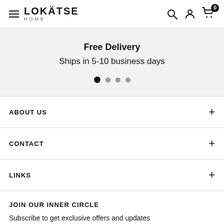LOKÄTSE HOME
Free Delivery
Ships in 5-10 business days
ABOUT US
CONTACT
LINKS
JOIN OUR INNER CIRCLE
Subscribe to get exclusive offers and updates